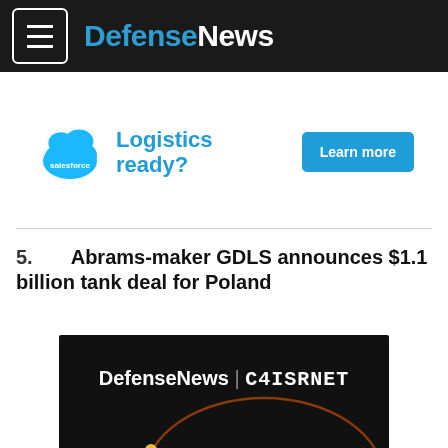DefenseNews
[Figure (other): Salesforce advertisement banner: salesforce cloud logo, text 'Logistics ready?', blue 'Learn more' button]
5. Abrams-maker GDLS announces $1.1 billion tank deal for Poland
[Figure (screenshot): Dark promotional image with DefenseNews | C4ISRNET logo and glowing orange arc light streak on black background]